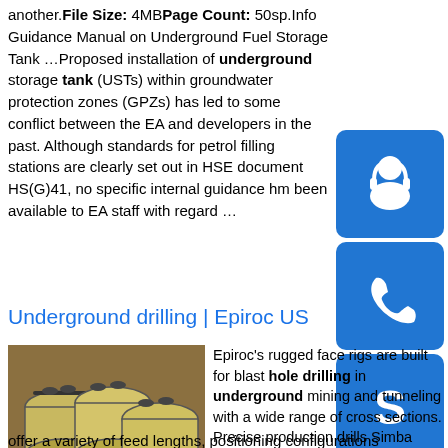another. File Size: 4MB Page Count: 50sp.Info Guidance Manual on Underground Fuel Storage Tank …Proposed installation of underground storage tank (USTs) within groundwater protection zones (GPZs) has led to some conflict between the EA and developers in the past. Although standards for petrol filling stations are clearly set out in HSE document HS(G)41, no specific internal guidance hm been available to EA staff with regard to ...
[Figure (illustration): Blue square icon with white customer support / headset person silhouette]
[Figure (illustration): Blue square icon with white telephone handset]
[Figure (illustration): Blue square icon with white Skype logo]
Underground drilling | Epiroc US
[Figure (photo): Photo of yellow underground storage tanks laid on the ground]
Epiroc's rugged face rigs are built for blast hole drilling in underground mining and tunneling with a wide range of cross sections. Precise production drills Simba long-hole drilling rigs offer a variety of feed lengths, positioning configurations